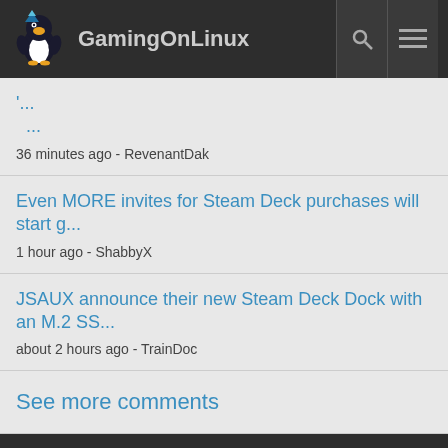GamingOnLinux
'...
36 minutes ago - RevenantDak
Even MORE invites for Steam Deck purchases will start g...
1 hour ago - ShabbyX
JSAUX announce their new Steam Deck Dock with an M.2 SS...
about 2 hours ago - TrainDoc
See more comments
Latest Forum Posts
Anyone interested in a like-new 512GB Steam Deck for 640€?...